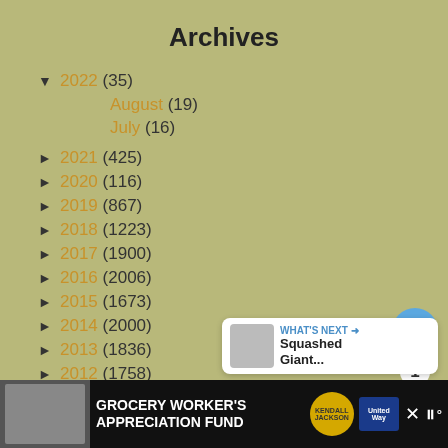Archives
▼ 2022 (35)
August (19)
July (16)
► 2021 (425)
► 2020 (116)
► 2019 (867)
► 2018 (1223)
► 2017 (1900)
► 2016 (2006)
► 2015 (1673)
► 2014 (2000)
► 2013 (1836)
► 2012 (1758)
► 2011 (2415)
► 2010 (2440)
[Figure (screenshot): UI overlay: heart/like button (blue circle with heart icon), count bubble showing 1, share button (white circle with share icon)]
[Figure (infographic): WHAT'S NEXT banner with thumbnail and text: Squashed Giant...]
[Figure (screenshot): Bottom ad bar: GROCERY WORKER'S APPRECIATION FUND with Kendall-Jackson and United Way logos]